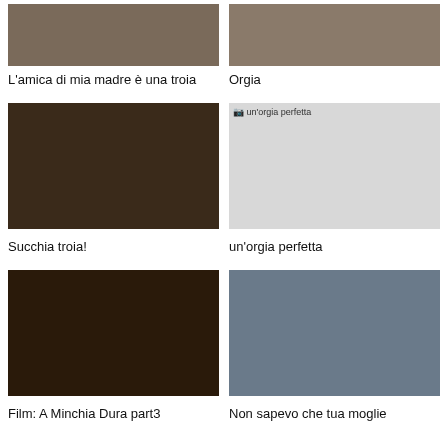[Figure (photo): Video thumbnail - L'amica di mia madre è una troia]
[Figure (photo): Video thumbnail - Orgia]
L'amica di mia madre è una troia
Orgia
[Figure (photo): Video thumbnail - Succhia troia!]
[Figure (photo): Broken image placeholder - un'orgia perfetta]
Succhia troia!
un'orgia perfetta
[Figure (photo): Video thumbnail - Film: A Minchia Dura part3]
[Figure (photo): Video thumbnail - Non sapevo che tua moglie]
Film: A Minchia Dura part3
Non sapevo che tua moglie